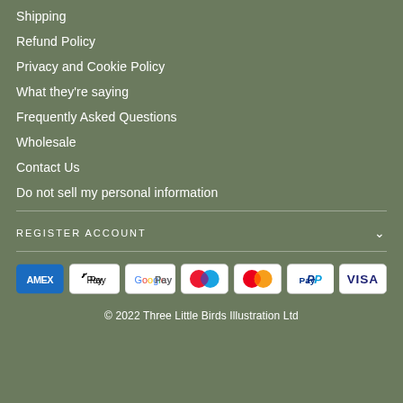Shipping
Refund Policy
Privacy and Cookie Policy
What they're saying
Frequently Asked Questions
Wholesale
Contact Us
Do not sell my personal information
REGISTER ACCOUNT
[Figure (logo): Payment method icons: American Express, Apple Pay, Google Pay, Maestro, Mastercard, PayPal, Visa]
© 2022 Three Little Birds Illustration Ltd